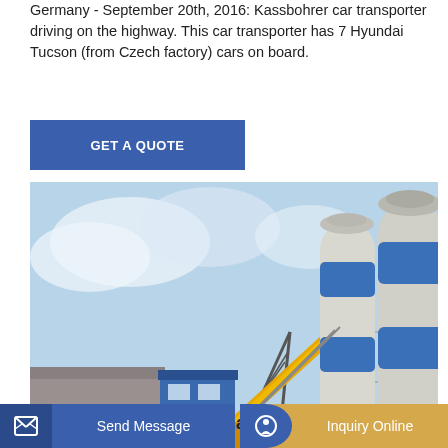Germany - September 20th, 2016: Kassbohrer car transporter driving on the highway. This car transporter has 7 Hyundai Tucson (from Czech factory) cars on board.
[Figure (other): Blue 'GET A QUOTE' button]
[Figure (photo): Industrial concrete batching plant with large blue and white cylindrical silos, yellow conveyor belt structure, and blue control building.]
Ransomware is a national security threat
May 13, 2021 · Ransomware is a national security threat and
[Figure (other): Send Message button (blue) and Inquiry Online button (gold) at bottom of page]